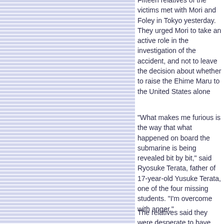Fifteen relatives of the victims met with Mori and Foley in Tokyo yesterday. They urged Mori to take an active role in the investigation of the accident, and not to leave the decision about whether to raise the Ehime Maru to the United States alone
"What makes me furious is the way that what happened on board the submarine is being revealed bit by bit," said Ryosuke Terata, father of 17-year-old Yusuke Terata, one of the four missing students. "I'm overcome with anger."
The relatives said they were desperate to have